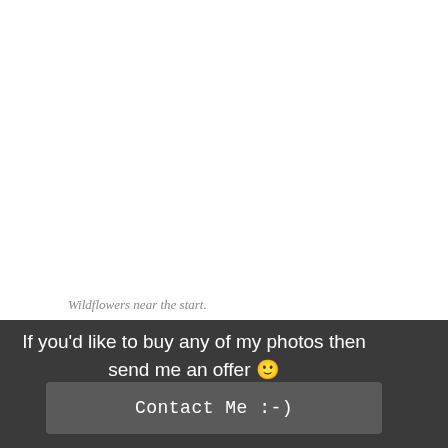Wildflowers near the start.
If you'd like to buy any of my photos then send me an offer 🙂
Contact Me :-)